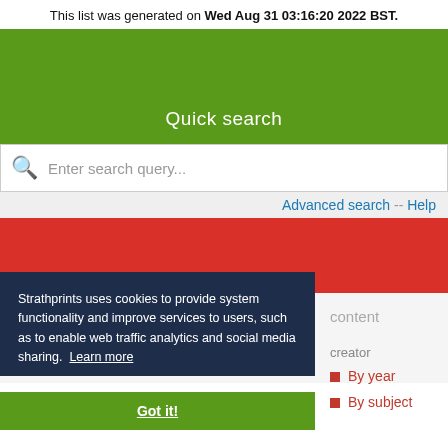This list was generated on Wed Aug 31 03:16:20 2022 BST.
[Figure (screenshot): Green banner with 'Quick search' label]
Enter search query...
Advanced search -- Help
[Figure (screenshot): Red banner section]
Strathprints uses cookies to provide system functionality and improve services to users, such as to enable web traffic analytics and social media sharing. Learn more
Got it!
By year
By subject